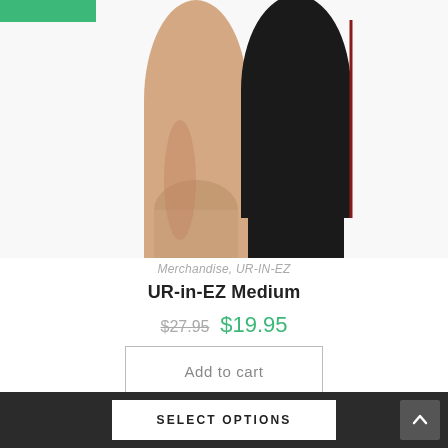[Figure (photo): Product photo showing legs wearing a black thigh support/brace (UR-in-EZ) on one leg, with a green badge in the top-left corner of the image]
Merchandise, UR-IN-EZ
UR-in-EZ Medium
$27.95  $19.95
Add to cart
SELECT OPTIONS